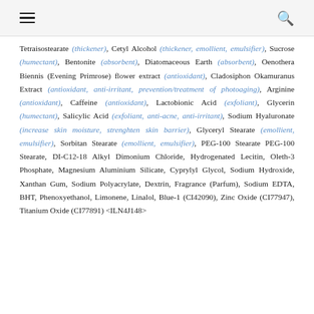[hamburger menu] [search icon]
Tetraisostearate (thickener), Cetyl Alcohol (thickener, emollient, emulsifier), Sucrose (humectant), Bentonite (absorbent), Diatomaceous Earth (absorbent), Oenothera Biennis (Evening Primrose) flower extract (antioxidant), Cladosiphon Okamuranus Extract (antioxidant, anti-irritant, prevention/treatment of photoaging), Arginine (antioxidant), Caffeine (antioxidant), Lactobionic Acid (exfoliant), Glycerin (humectant), Salicylic Acid (exfoliant, anti-acne, anti-irritant), Sodium Hyaluronate (increase skin moisture, strenghten skin barrier), Glyceryl Stearate (emollient, emulsifier), Sorbitan Stearate (emollient, emulsifier), PEG-100 Stearate PEG-100 Stearate, DI-C12-18 Alkyl Dimonium Chloride, Hydrogenated Lecitin, Oleth-3 Phosphate, Magnesium Aluminium Silicate, Cyprylyl Glycol, Sodium Hydroxide, Xanthan Gum, Sodium Polyacrylate, Dextrin, Fragrance (Parfum), Sodium EDTA, BHT, Phenoxyethanol, Limonene, Linalol, Blue-1 (CI42090), Zinc Oxide (CI77947), Titanium Oxide (CI77891) <ILN4J148>